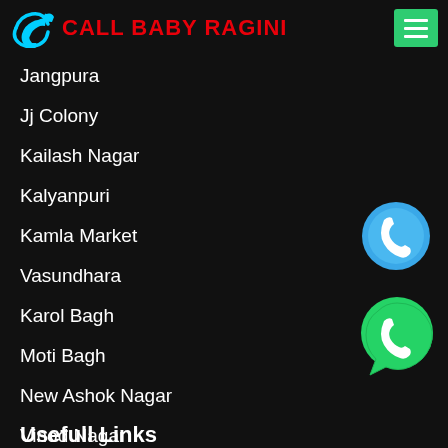CALL BABY RAGINI
Jangpura
Jj Colony
Kailash Nagar
Kalyanpuri
Kamla Market
Vasundhara
Karol Bagh
Moti Bagh
New Ashok Nagar
Vinod Nagar
[Figure (illustration): Blue phone call button icon (circular blue background with white phone handset)]
[Figure (illustration): WhatsApp icon (green circle with white phone handset and speech bubble)]
Usefull Links